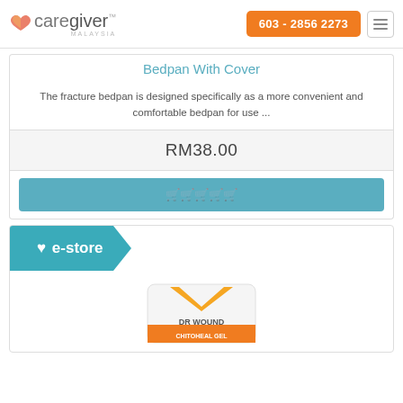603 - 2856 2273
Bedpan With Cover
The fracture bedpan is designed specifically as a more convenient and comfortable bedpan for use ...
RM38.00
🛒🛒🛒🛒🛒
[Figure (logo): e-store badge with heart icon on teal background]
[Figure (photo): DR WOUND CHITOHEAL GEL product image in white tube with orange/yellow V chevron design]